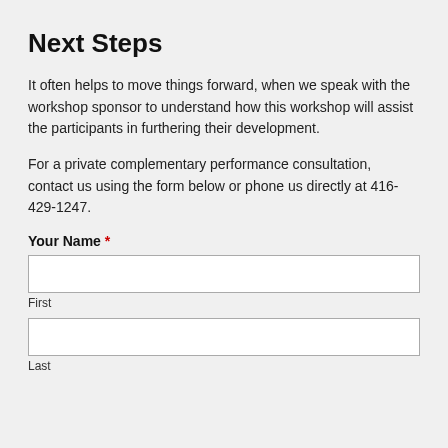Next Steps
It often helps to move things forward, when we speak with the workshop sponsor to understand how this workshop will assist the participants in furthering their development.
For a private complementary performance consultation, contact us using the form below or phone us directly at 416-429-1247.
Your Name *
First
Last